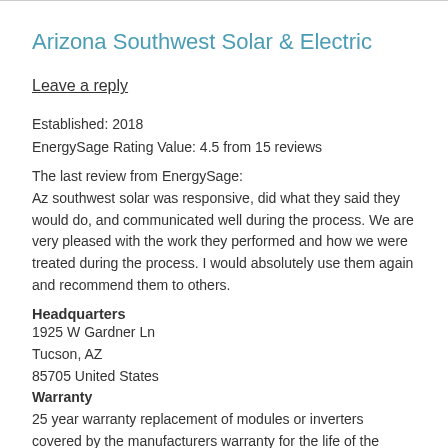Arizona Southwest Solar & Electric
Leave a reply
Established: 2018
EnergySage Rating Value: 4.5 from 15 reviews
The last review from EnergySage:
Az southwest solar was responsive, did what they said they would do, and communicated well during the process. We are very pleased with the work they performed and how we were treated during the process. I would absolutely use them again and recommend them to others.
Headquarters
1925 W Gardner Ln
Tucson, AZ
85705 United States
Warranty
25 year warranty replacement of modules or inverters covered by the manufacturers warranty for the life of the manufacturers warranty period. During the first 10 years, any roof leaks caused by the solar installation, and all related wiring/conduit are covered.